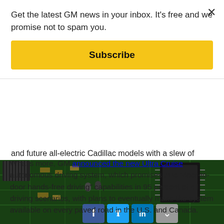Get the latest GM news in your inbox. It's free and we promise not to spam you.
Subscribe
and future all-electric Cadillac models with a slew of upgrades. The new Lyriq is expected to enter production at the end of March.
What's more, GM announced the new Ultra Cruise autonomous driving system, which promises true “door-to-door hands-free driving” capabilities in 95 percent of all driving scenarios, with plans to eventually make the system available on every paved road in the U.S. and Canada.
[Figure (photo): Close-up photograph of a green circuit board with electronic components including chips, resistors, and heat sinks. Social media share buttons (Facebook, Twitter, LinkedIn, more) are overlaid at the bottom.]